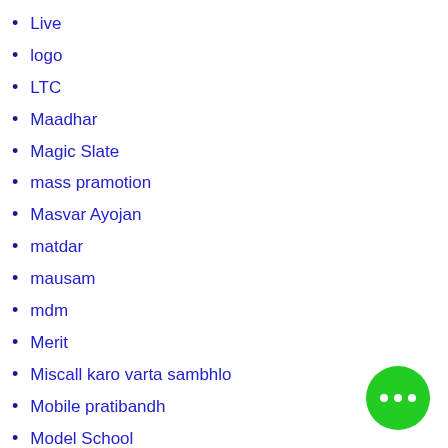Live
logo
LTC
Maadhar
Magic Slate
mass pramotion
Masvar Ayojan
matdar
mausam
mdm
Merit
Miscall karo varta sambhlo
Mobile pratibandh
Model School
Monsoon
monsun
Monthly Planning
Movie
MRHW
[Figure (illustration): Green circular chat button with three dots in the bottom right corner]